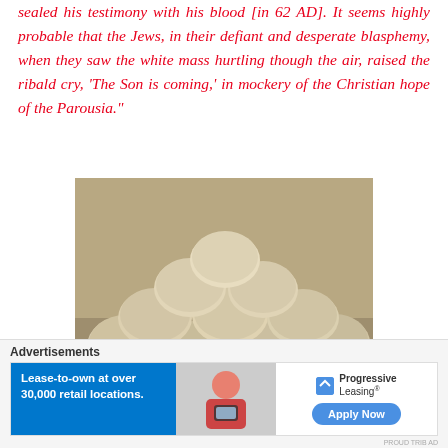sealed his testimony with his blood [in 62 AD]. It seems highly probable that the Jews, in their defiant and desperate blasphemy, when they saw the white mass hurtling though the air, raised the ribald cry, ‘The Son is coming,’ in mockery of the Christian hope of the Parousia.”
[Figure (photo): A pile of large white/beige limestone or catapult stone balls stacked on a stone surface, likely ancient Roman or Jewish war-era ballista stones.]
Advertisements
[Figure (infographic): Progressive Leasing advertisement banner. Left blue section reads 'Lease-to-own at over 30,000 retail locations.' Center shows a person with a phone. Right side shows Progressive Leasing logo and 'Apply Now' button.]